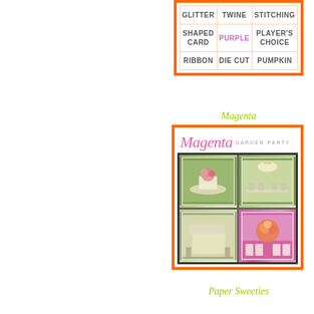| glitter | twine | stitching |
| shaped card | PURPLE | player's choice |
| ribbon | die cut | pumpkin |
Magenta
[Figure (illustration): Magenta Garden Party product card showing header text 'Magenta GARDEN PARTY' and four garden party photos in a 2x2 grid: outdoor table with flowers, outdoor dining with chandelier, garden chair with cushions, and pink table setting with floral arrangement]
Paper Sweeties